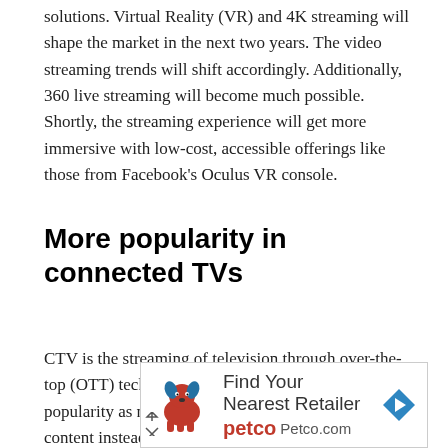solutions. Virtual Reality (VR) and 4K streaming will shape the market in the next two years. The video streaming trends will shift accordingly. Additionally, 360 live streaming will become much possible. Shortly, the streaming experience will get more immersive with low-cost, accessible offerings like those from Facebook's Oculus VR console.
More popularity in connected TVs
CTV is the streaming of television through over-the-top (OTT) technology. Connected TV has increased in popularity as more television viewers began watching content instead of
[Figure (other): Petco advertisement banner: Find Your Nearest Retailer, Petco.com, with Petco dog logo and navigation arrow icon]